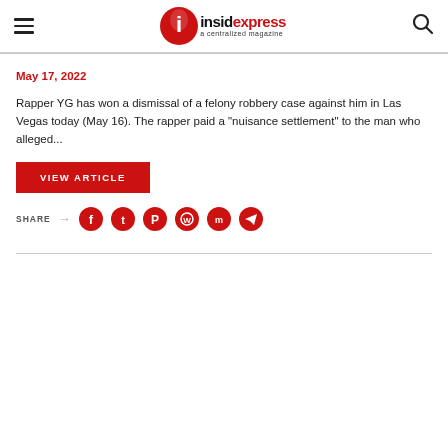insidexpress — a centralized magazine
May 17, 2022
Rapper YG has won a dismissal of a felony robbery case against him in Las Vegas today (May 16). The rapper paid a "nuisance settlement" to the man who alleged...
VIEW ARTICLE
SHARE